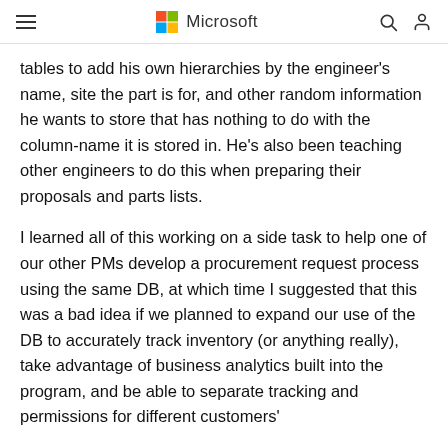Microsoft
tables to add his own hierarchies by the engineer's name, site the part is for, and other random information he wants to store that has nothing to do with the column-name it is stored in. He's also been teaching other engineers to do this when preparing their proposals and parts lists.
I learned all of this working on a side task to help one of our other PMs develop a procurement request process using the same DB, at which time I suggested that this was a bad idea if we planned to expand our use of the DB to accurately track inventory (or anything really), take advantage of business analytics built into the program, and be able to separate tracking and permissions for different customers'